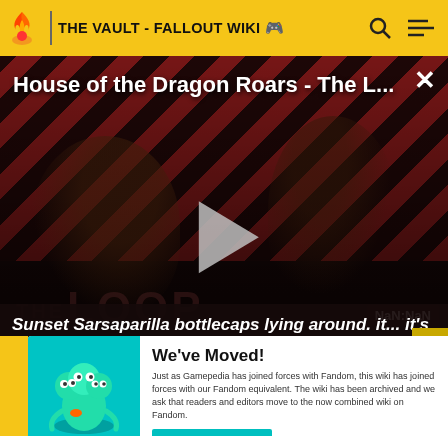THE VAULT - FALLOUT WIKI
[Figure (screenshot): Video player showing 'House of the Dragon Roars - The L...' with play button, diagonal red/dark stripe background, two figures in shadow, 'THE LOOP' watermark, and NaN:NaN timestamp badge]
Sunset Sarsaparilla bottlecaps lying around. it... it's not "currency" per se...* *Still, might be enough to
We've Moved! Just as Gamepedia has joined forces with Fandom, this wiki has joined forces with our Fandom equivalent. The wiki has been archived and we ask that readers and editors move to the now combined wiki on Fandom.
GO TO NEW WIKI →